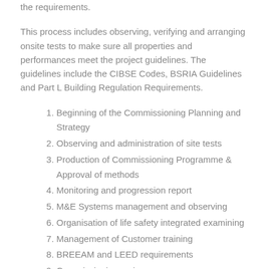the requirements.
This process includes observing, verifying and arranging onsite tests to make sure all properties and performances meet the project guidelines. The guidelines include the CIBSE Codes, BSRIA Guidelines and Part L Building Regulation Requirements.
1. Beginning of the Commissioning Planning and Strategy
2. Observing and administration of site tests
3. Production of Commissioning Programme & Approval of methods
4. Monitoring and progression report
5. M&E Systems management and observing
6. Organisation of life safety integrated examining
7. Management of Customer training
8. BREEAM and LEED requirements
9. Commissioning review
Commissioning management involves the process of organising, planning, control and co-ordination of the commissioning duties. If you require more details regarding the prices of the services we can carry out for you in Bacton Green, fill in the contact form